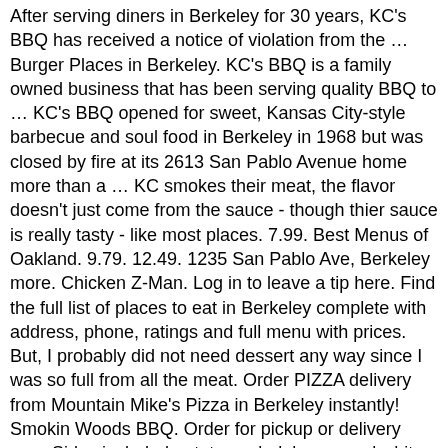After serving diners in Berkeley for 30 years, KC's BBQ has received a notice of violation from the … Burger Places in Berkeley. KC's BBQ is a family owned business that has been serving quality BBQ to … KC's BBQ opened for sweet, Kansas City-style barbecue and soul food in Berkeley in 1968 but was closed by fire at its 2613 San Pablo Avenue home more than a … KC smokes their meat, the flavor doesn't just come from the sauce - though thier sauce is really tasty - like most places. 7.99. Best Menus of Oakland. 9.79. 12.49. 1235 San Pablo Ave, Berkeley more. Chicken Z-Man. Log in to leave a tip here. Find the full list of places to eat in Berkeley complete with address, phone, ratings and full menu with prices. But, I probably did not need dessert any way since I was so full from all the meat. Order PIZZA delivery from Mountain Mike's Pizza in Berkeley instantly! Smokin Woods BBQ. Order for pickup or delivery now. Sides included potatoe salad, beans and white bread. This is the restaurant's third location. About Restaurant Owners Text me the App. See restaurant menus, reviews, hours, photos, maps and directions. The atmosphere at this restaurant is really rich. Get delivery from KC's BBQ